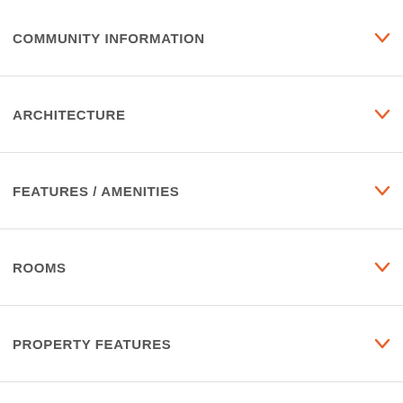COMMUNITY INFORMATION
ARCHITECTURE
FEATURES / AMENITIES
ROOMS
PROPERTY FEATURES
TAX AND FINANCIAL INFO
SCHOOLS
WALKING AND TRANSPORTATION
SCHEDULE A TOUR